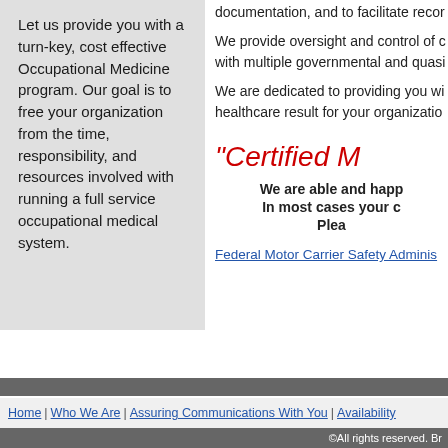Let us provide you with a turn-key, cost effective Occupational Medicine program. Our goal is to free your organization from the time, responsibility, and resources involved with running a full service occupational medical system.
documentation, and to facilitate recor
We provide oversight and control of c with multiple governmental and quasi
We are dedicated to providing you wi healthcare result for your organizatio
"Certified M
We are able and happ
In most cases your c
Plea
Federal Motor Carrier Safety Adminis
Home | Who We Are | Assuring Communications With You | Availability
©All rights reserved. Br